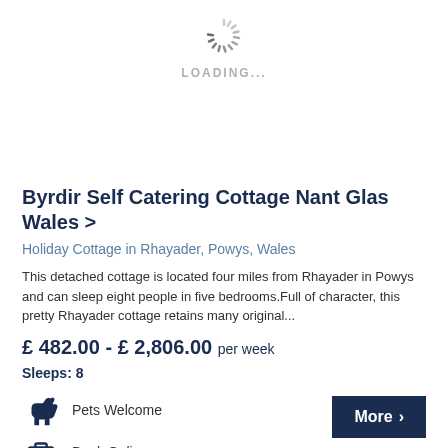[Figure (other): Loading spinner animation (circular spinner icon)]
LOADING...
Byrdir Self Catering Cottage Nant Glas Wales >
Holiday Cottage in Rhayader, Powys, Wales
This detached cottage is located four miles from Rhayader in Powys and can sleep eight people in five bedrooms.Full of character, this pretty Rhayader cottage retains many original...
£ 482.00 - £ 2,806.00 per week
Sleeps: 8
Pets Welcome
Book Online
More >